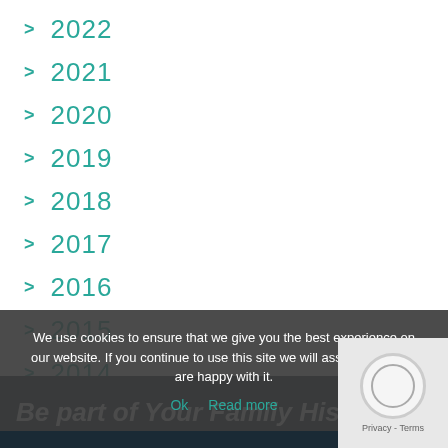2022
2021
2020
2019
2018
2017
2016
2015
2014
2013
We use cookies to ensure that we give you the best experience on our website. If you continue to use this site we will assume that you are happy with it.
Ok  Read more
Be part of Your Family History